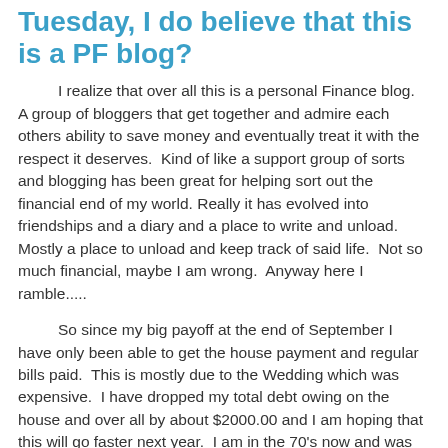Tuesday, I do believe that this is a PF blog?
I realize that over all this is a personal Finance blog.  A group of bloggers that get together and admire each others ability to save money and eventually treat it with the respect it deserves.  Kind of like a support group of sorts and blogging has been great for helping sort out the financial end of my world. Really it has evolved into friendships and a diary and a place to write and unload.  Mostly a place to unload and keep track of said life.  Not so much financial, maybe I am wrong.  Anyway here I ramble.....
So since my big payoff at the end of September I have only been able to get the house payment and regular bills paid.  This is mostly due to the Wedding which was expensive.  I have dropped my total debt owing on the house and over all by about $2000.00 and I am hoping that this will go faster next year.  I am in the 70's now and was so excited to finally pass Sarah but again she snuck in and ( yes snuck is a word) and she is still BELOW me.  Oh revenge will be so sweet when I blast past her.  See I always have to brag.